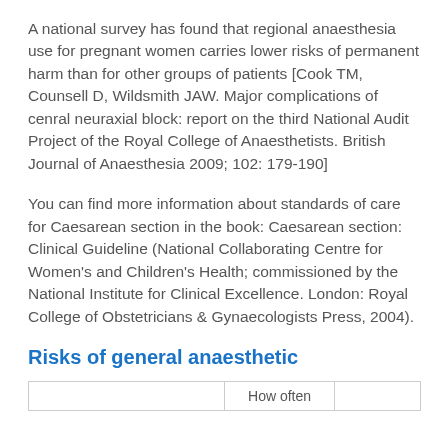A national survey has found that regional anaesthesia use for pregnant women carries lower risks of permanent harm than for other groups of patients [Cook TM, Counsell D, Wildsmith JAW. Major complications of cenral neuraxial block: report on the third National Audit Project of the Royal College of Anaesthetists. British Journal of Anaesthesia 2009; 102: 179-190]
You can find more information about standards of care for Caesarean section in the book: Caesarean section: Clinical Guideline (National Collaborating Centre for Women's and Children's Health; commissioned by the National Institute for Clinical Excellence. London: Royal College of Obstetricians & Gynaecologists Press, 2004).
Risks of general anaesthetic
|  | How often |  |
| --- | --- | --- |